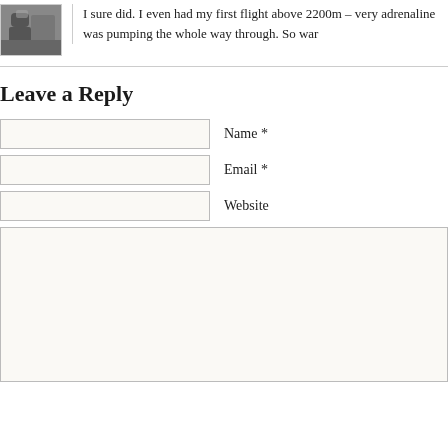[Figure (photo): Small avatar/thumbnail photo of a person, grayscale, appears to be in a vehicle or aircraft cockpit]
I sure did. I even had my first flight above 2200m – very adrenaline was pumping the whole way through. So war…
Leave a Reply
Name *
Email *
Website